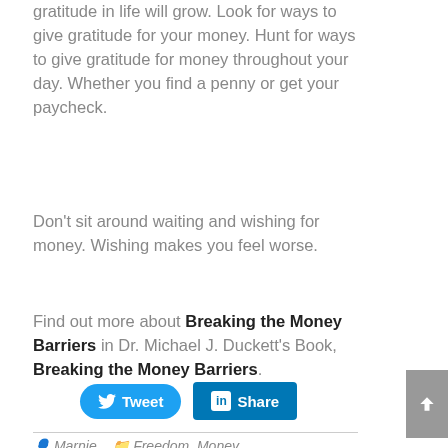gratitude in life will grow. Look for ways to give gratitude for your money. Hunt for ways to give gratitude for money throughout your day. Whether you find a penny or get your paycheck.
Don't sit around waiting and wishing for money. Wishing makes you feel worse.
Find out more about Breaking the Money Barriers in Dr. Michael J. Duckett's Book, Breaking the Money Barriers.
[Figure (other): Tweet and LinkedIn Share social media buttons]
Marnie   Freedom, Money